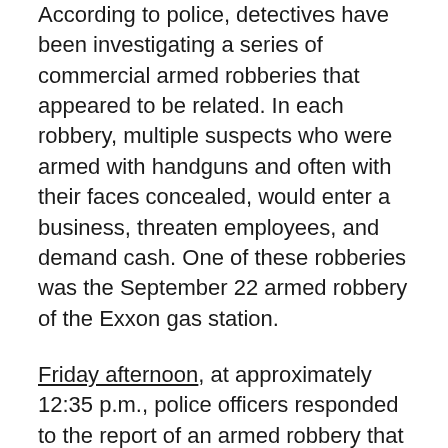According to police, detectives have been investigating a series of commercial armed robberies that appeared to be related. In each robbery, multiple suspects who were armed with handguns and often with their faces concealed, would enter a business, threaten employees, and demand cash. One of these robberies was the September 22 armed robbery of the Exxon gas station.
Friday afternoon, at approximately 12:35 p.m., police officers responded to the report of an armed robbery that had just occurred at the Cash Depot store in the 11200 block of Georgia Avenue in Wheaton.
Police say multiple suspects, with their faces concealed and brandishing firearms, entered the Cash Depot store. The suspects threatened a store employee and demanded cash. They then reportedly...